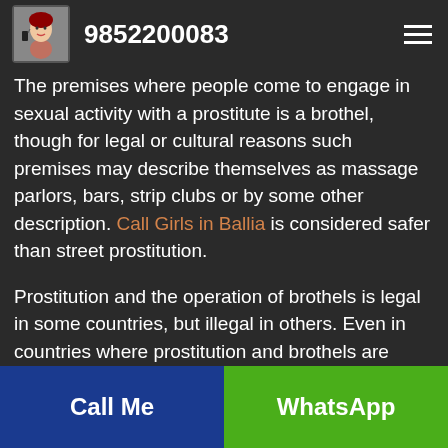9852200083
The premises where people come to engage in sexual activity with a prostitute is a brothel, though for legal or cultural reasons such premises may describe themselves as massage parlors, bars, strip clubs or by some other description. Call Girls in Ballia is considered safer than street prostitution.
Prostitution and the operation of brothels is legal in some countries, but illegal in others. Even in countries where prostitution and brothels are
Call Me | WhatsApp